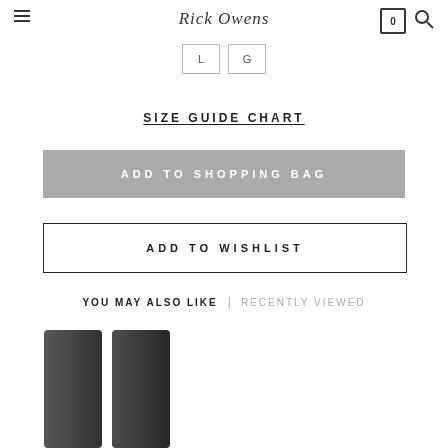Rick Owens
L  |  G
SIZE GUIDE CHART
ADD TO SHOPPING BAG
ADD TO WISHLIST
YOU MAY ALSO LIKE  |  RECENTLY VIEWED
[Figure (photo): Two dark charcoal grey knit leg warmers or boot cut garments laid flat on white background]